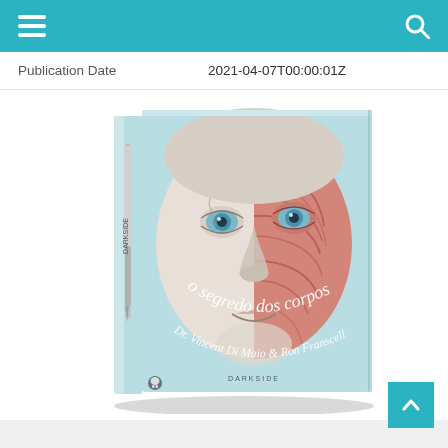Publication Date    2021-04-07T00:00:01Z
[Figure (photo): Book cover of 'O Segredo dos Corpos' (The Secret of Bodies) by Dr. Vincent Di Maio & Ron Franscell. The cover shows a half-clay half-anatomical muscular face with blue eyes, on a light blue background, with a surgical scalpel on the spine. Publisher: Darkside.]